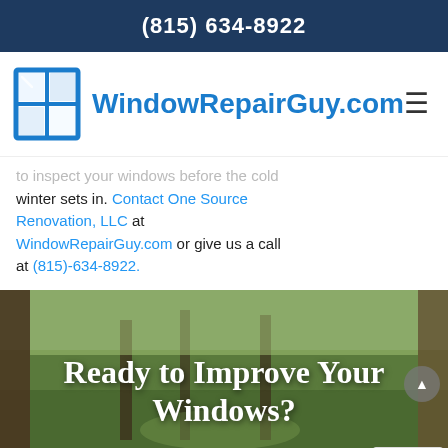(815) 634-8922
[Figure (logo): WindowRepairGuy.com logo with blue window frame icon and blue text]
to inspect your windows before the cold winter sets in. Contact One Source Renovation, LLC at WindowRepairGuy.com or give us a call at (815)-634-8922.
[Figure (photo): View through a window showing green lawn and trees, with overlaid text 'Ready to Improve Your Windows?' and a 'Start Your Project' button]
Ready to Improve Your Windows?
Start Your Project